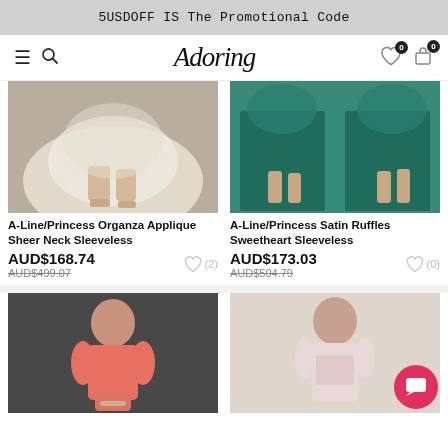5USDOFF IS The Promotional Code
[Figure (screenshot): Adoring fashion website navigation bar with hamburger menu, search icon, Adoring logo, heart icon with badge 0, and cart icon with badge 0]
[Figure (photo): A-Line/Princess Organza Applique Sheer Neck Sleeveless white dress showing legs and lower skirt area]
A-Line/Princess Organza Applique Sheer Neck Sleeveless
AUD$168.74
AUD$499.07
(2)
[Figure (photo): A-Line/Princess Satin Ruffles Sweetheart Sleeveless teal dress showing two views of legs and skirt]
A-Line/Princess Satin Ruffles Sweetheart Sleeveless
AUD$173.03
AUD$504.79
(0)
[Figure (photo): Woman in coral/salmon strapless short dress on dark background]
[Figure (photo): Woman in light pink strapless embellished short dress on light background]